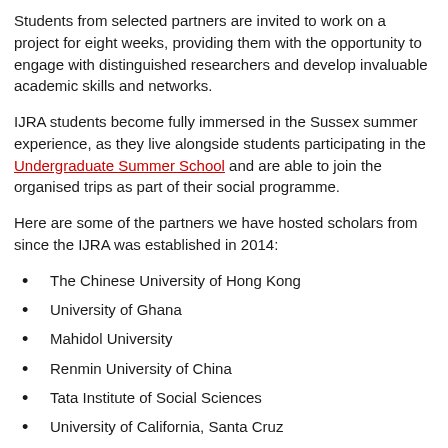Students from selected partners are invited to work on a project for eight weeks, providing them with the opportunity to engage with distinguished researchers and develop invaluable academic skills and networks.
IJRA students become fully immersed in the Sussex summer experience, as they live alongside students participating in the Undergraduate Summer School and are able to join the organised trips as part of their social programme.
Here are some of the partners we have hosted scholars from since the IJRA was established in 2014:
The Chinese University of Hong Kong
University of Ghana
Mahidol University
Renmin University of China
Tata Institute of Social Sciences
University of California, Santa Cruz
Wilfrid Laurier University